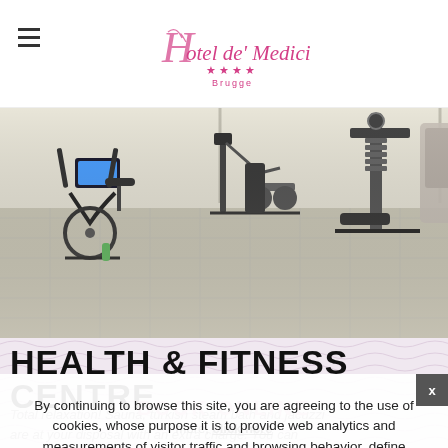Hotel de' Medici ★★★★ Brugge
[Figure (photo): Interior of hotel fitness/gym room showing exercise bikes, rowing machines, and weight machines with mirrors on the walls and tiled floor]
HEALTH & FITNESS CENTRE
By continuing to browse this site, you are agreeing to the use of cookies, whose purpose it is to provide web analytics and measurements of visitor traffic and browsing behavior, define personalized services and offers tailored to your interests, and share data with, or redirect users from, third-party websites. To learn more, click here
Total relaxation! Sauna, turkish steam bath and jacuzzi are at your disposal with an extra charge. You can
BOOK ONLINE